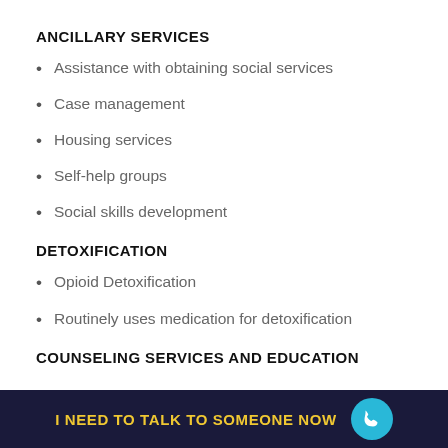ANCILLARY SERVICES
Assistance with obtaining social services
Case management
Housing services
Self-help groups
Social skills development
DETOXIFICATION
Opioid Detoxification
Routinely uses medication for detoxification
COUNSELING SERVICES AND EDUCATION
I NEED TO TALK TO SOMEONE NOW